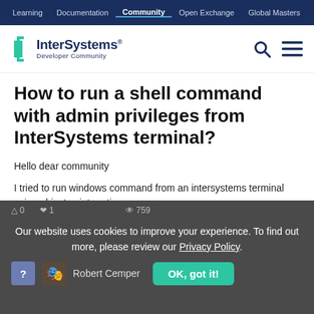Learning  Documentation  Community  Open Exchange  Global Masters  Certification
[Figure (logo): InterSystems Developer Community logo with teal bracket icon]
How to run a shell command with admin privileges from InterSystems terminal?
Hello dear community
I tried to run windows command from an intersystems terminal using objectscript routine.
routine :
#Caché  #HealthShare  #InterSystems IRIS  #Other
Our website uses cookies to improve your experience. To find out more, please review our Privacy Policy.
Robert Cemper
OK, got it!